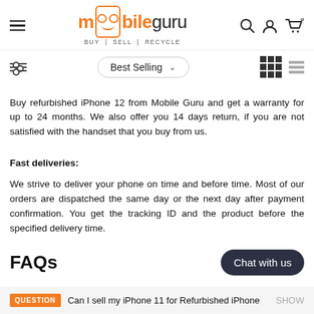[Figure (logo): mobileguru logo with phone icon showing glasses and moustache, tagline BUY | SELL | RECYCLE]
[Figure (screenshot): Filter icon (sliders), Best Selling dropdown, grid and list view icons]
Buy refurbished iPhone 12 from Mobile Guru and get a warranty for up to 24 months. We also offer you 14 days return, if you are not satisfied with the handset that you buy from us.
Fast deliveries:
We strive to deliver your phone on time and before time. Most of our orders are dispatched the same day or the next day after payment confirmation. You get the tracking ID and the product before the specified delivery time.
FAQs
QUESTION Can I sell my iPhone 11 for Refurbished iPhone SHOW